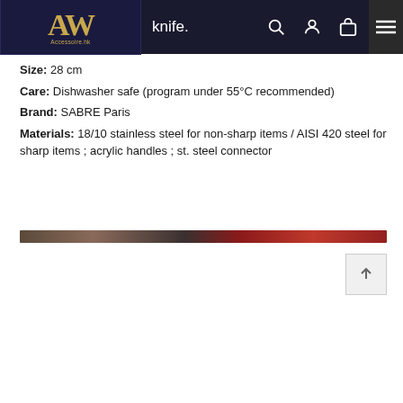Accessoire.hk — knife.
Size: 28 cm
Care: Dishwasher safe (program under 55°C recommended)
Brand: SABRE Paris
Materials: 18/10 stainless steel for non-sharp items / AISI 420 steel for sharp items ; acrylic handles ; st. steel connector
[Figure (photo): Partial product image strip showing cutlery — a knife with red/dark handle against a dark background, cropped at the top of the lower section.]